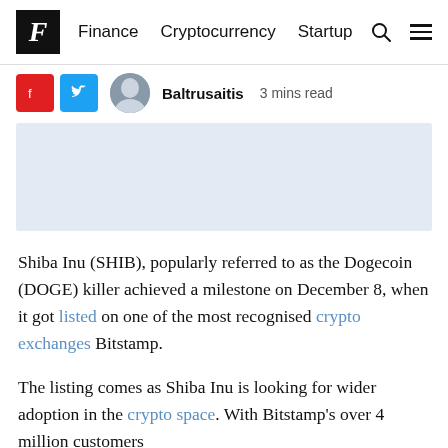F  Finance  Cryptocurrency  Startup
Baltrusaitis  3 mins read
[Figure (other): Advertisement/placeholder block with light blue-grey background]
Shiba Inu (SHIB), popularly referred to as the Dogecoin (DOGE) killer achieved a milestone on December 8, when it got listed on one of the most recognised crypto exchanges Bitstamp.
The listing comes as Shiba Inu is looking for wider adoption in the crypto space. With Bitstamp's over 4 million customers